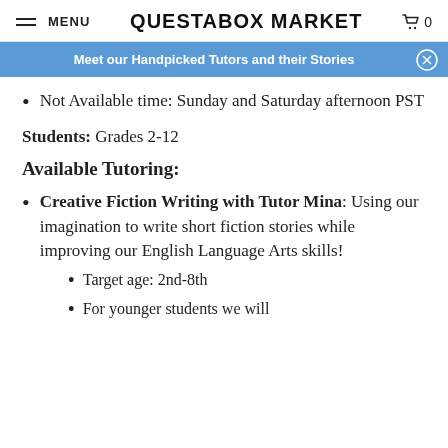MENU  QUESTABOX MARKET  0
Meet our Handpicked Tutors and their Stories
Not Available time: Sunday and Saturday afternoon PST
Students: Grades 2-12
Available Tutoring:
Creative Fiction Writing with Tutor Mina: Using our imagination to write short fiction stories while improving our English Language Arts skills!
Target age: 2nd-8th
For younger students we will